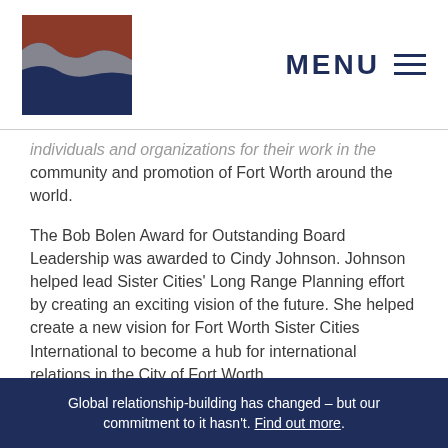MENU
individuals and organizations for their work in the community and promotion of Fort Worth around the world.
The Bob Bolen Award for Outstanding Board Leadership was awarded to Cindy Johnson. Johnson helped lead Sister Cities' Long Range Planning effort by creating an exciting vision of the future. She helped create a new vision for Fort Worth Sister Cities International to become a hub for international relations in the City of Fort Worth.
MedStar Mobile Healthcare was awarded the Eisenhower Award for Organizational Involvement. During the pandemic, MedStar donated an ambulance to Fort Worth's sister city of Toluca, Mexico. Not only was it used to help during the
Global relationship-building has changed – but our commitment to it hasn't. Find out more.